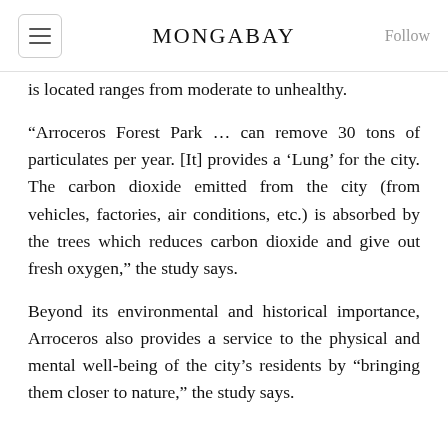MONGABAY
is located ranges from moderate to unhealthy.
“Arroceros Forest Park … can remove 30 tons of particulates per year. [It] provides a ‘Lung’ for the city. The carbon dioxide emitted from the city (from vehicles, factories, air conditions, etc.) is absorbed by the trees which reduces carbon dioxide and give out fresh oxygen,” the study says.
Beyond its environmental and historical importance, Arroceros also provides a service to the physical and mental well-being of the city’s residents by “bringing them closer to nature,” the study says.